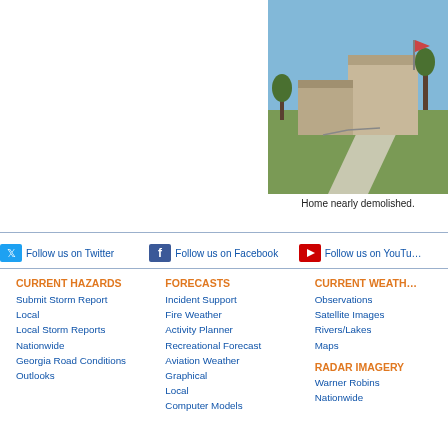[Figure (photo): Photograph of a home that is nearly demolished, showing a partially standing structure near a driveway and trees, under a clear blue sky.]
Home nearly demolished.
Follow us on Twitter   Follow us on Facebook   Follow us on YouTube
CURRENT HAZARDS
Submit Storm Report
Local
Local Storm Reports
Nationwide
Georgia Road Conditions
Outlooks
FORECASTS
Incident Support
Fire Weather
Activity Planner
Recreational Forecast
Aviation Weather
Graphical
Local
Computer Models
CURRENT WEATHER
Observations
Satellite Images
Rivers/Lakes
Maps
RADAR IMAGERY
Warner Robins
Nationwide